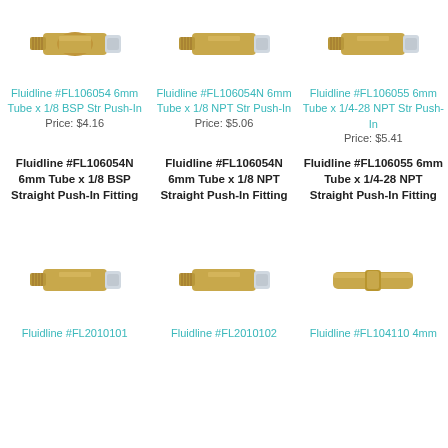[Figure (photo): Metal push-in straight fitting, 6mm tube x 1/8 BSP]
[Figure (photo): Metal push-in straight fitting, 6mm tube x 1/8 NPT]
[Figure (photo): Metal push-in straight fitting, 6mm tube x 1/4-28 NPT]
Fluidline #FL106054 6mm Tube x 1/8 BSP Str Push-In
Price: $4.16
Fluidline #FL106054N 6mm Tube x 1/8 NPT Str Push-In
Price: $5.06
Fluidline #FL106055 6mm Tube x 1/4-28 NPT Str Push-In
Price: $5.41
Fluidline #FL106054N 6mm Tube x 1/8 BSP Straight Push-In Fitting
Fluidline #FL106054N 6mm Tube x 1/8 NPT Straight Push-In Fitting
Fluidline #FL106055 6mm Tube x 1/4-28 NPT Straight Push-In Fitting
[Figure (photo): Metal push-in straight fitting, FL2010101]
[Figure (photo): Metal push-in straight fitting, FL2010102]
[Figure (photo): Metal push-in straight fitting, FL104110 4mm]
Fluidline #FL2010101
Fluidline #FL2010102
Fluidline #FL104110 4mm